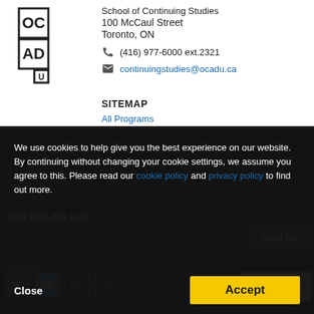[Figure (logo): OCAD U logo — stylized OC/AD/U letters in a grid of squares]
School of Continuing Studies
100 McCaul Street
Toronto, ON
(416) 977-6000 ext.2321
continuingstudies@ocadu.ca
SITEMAP
All Programs
Search Courses
Search Certificates
We use cookies to help give you the best experience on our website. By continuing without changing your cookie settings, we assume you agree to this. Please read our cookie policy and privacy policy to find out more.
JOIN MAILING LIST
Sign Up
Follow Us:
[Figure (logo): Powered by Destiny One logo]